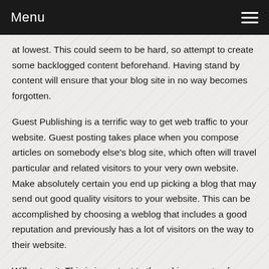Menu
at lowest. This could seem to be hard, so attempt to create some backlogged content beforehand. Having stand by content will ensure that your blog site in no way becomes forgotten.
Guest Publishing is a terrific way to get web traffic to your website. Guest posting takes place when you compose articles on somebody else's blog site, which often will travel particular and related visitors to your very own website. Make absolutely certain you end up picking a blog that may send out good quality visitors to your website. This can be accomplished by choosing a weblog that includes a good reputation and previously has a lot of visitors on the way to their website.
Will not quit. This is important to the achievements of your